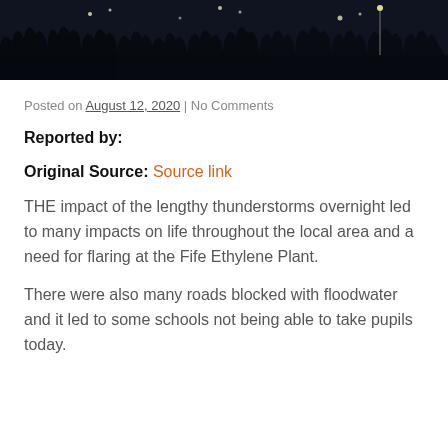[Figure (photo): Dark nighttime photo showing tree silhouettes against a dark blue sky with faint lights visible]
Posted on August 12, 2020 | No Comments
Reported by:
Original Source: Source link
THE impact of the lengthy thunderstorms overnight led to many impacts on life throughout the local area and a need for flaring at the Fife Ethylene Plant.
There were also many roads blocked with floodwater and it led to some schools not being able to take pupils today.